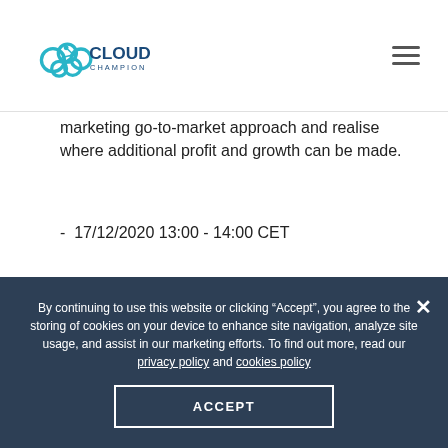Cloud Champion
marketing go-to-market approach and realise where additional profit and growth can be made.
- 17/12/2020 13:00 - 14:00 CET
Microsoft Modern Workplace Sales
By continuing to use this website or clicking “Accept”, you agree to the storing of cookies on your device to enhance site navigation, analyze site usage, and assist in our marketing efforts. To find out more, read our privacy policy and cookies policy
ACCEPT